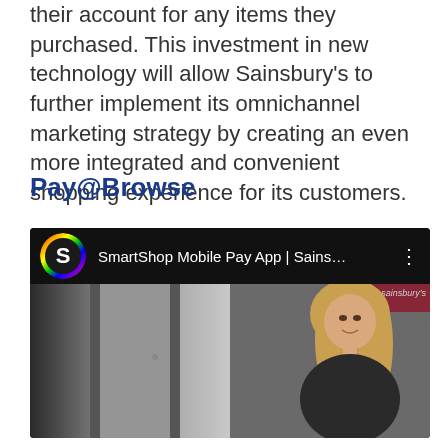their account for any items they purchased. This investment in new technology will allow Sainsbury's to further implement its omnichannel marketing strategy by creating an even more integrated and convenient shopping experience for its customers.
Pay@Browse
[Figure (screenshot): YouTube video thumbnail for 'SmartShop Mobile Pay App | Sains...' showing a YouTube-style interface with a colourful S logo icon, video title in white text on black bar, three-dot menu, and a thumbnail image of a blonde woman in a store with a dark left panel and Sainsbury's branding.]